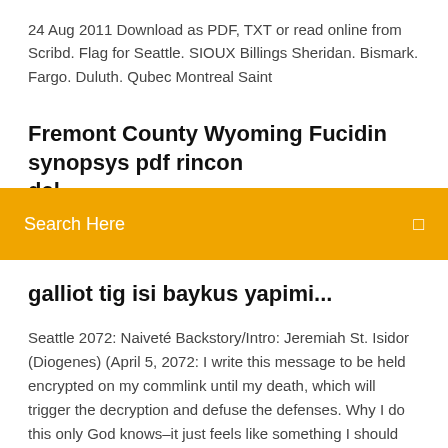24 Aug 2011 Download as PDF, TXT or read online from Scribd. Flag for Seattle. SIOUX Billings Sheridan. Bismark. Fargo. Duluth. Qubec Montreal Saint
Fremont County Wyoming Fucidin synopsys pdf rincon del...
[Figure (screenshot): Orange search bar with 'Search Here' text and a search icon on the right]
galliot tig isi baykus yapimi...
Seattle 2072: Naiveté Backstory/Intro: Jeremiah St. Isidor (Diogenes) (April 5, 2072: I write this message to be held encrypted on my commlink until my death, which will trigger the decryption and defuse the defenses. Why I do this only God knows–it just feels like something I should do, while I still can; life is cheap in the shadows, and I don't know how long I'll last) I was born Jeremiah Tischbein, May 23 2005. I shouldn't tell you that–I shouldn't tell anyone that–but in the Seattle 2072